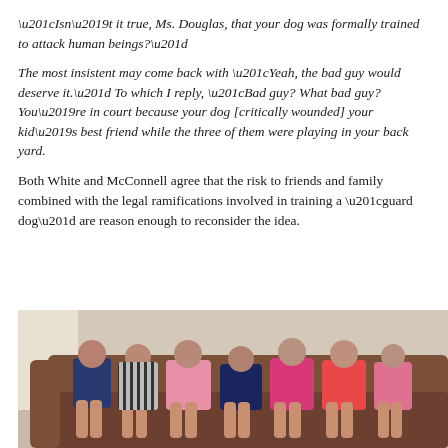“Isn’t it true, Ms. Douglas, that your dog was formally trained to attack human beings?”
The most insistent may come back with “Yeah, the bad guy would deserve it.” To which I reply, “Bad guy? What bad guy? You’re in court because your dog [critically wounded] your kid’s best friend while the three of them were playing in your back yard.
Both White and McConnell agree that the risk to friends and family combined with the legal ramifications involved in training a “guard dog” are reason enough to reconsider the idea.
[Figure (photo): A group of children sitting and lying on a brown leather sofa, their bare feet visible in the foreground.]